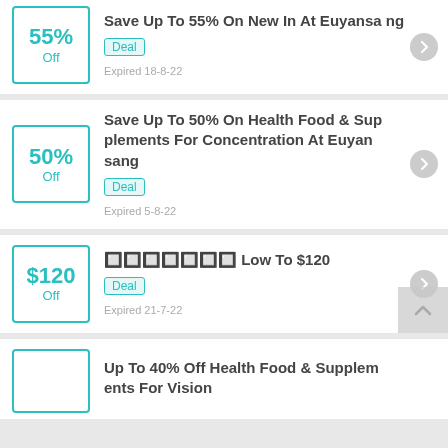Save Up To 55% On New In At Euyansa ng | Deal | Expired 18-8-22
Save Up To 50% On Health Food & Supplements For Concentration At Euyan sang | Deal | Expired 5-8-22
??????????????? Low To $120 | Deal | Expired 21-7-22
Up To 40% Off Health Food & Supplements For Vision